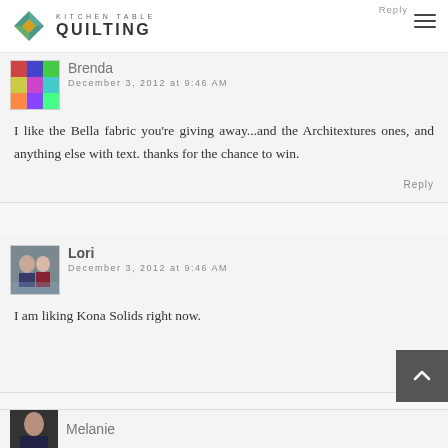KITCHEN TABLE QUILTING
Brenda
December 3, 2012 at 9:46 AM
I like the Bella fabric you're giving away...and the Architextures ones, and anything else with text. thanks for the chance to win.
Reply
Lori
December 3, 2012 at 9:46 AM
I am liking Kona Solids right now.
Melanie